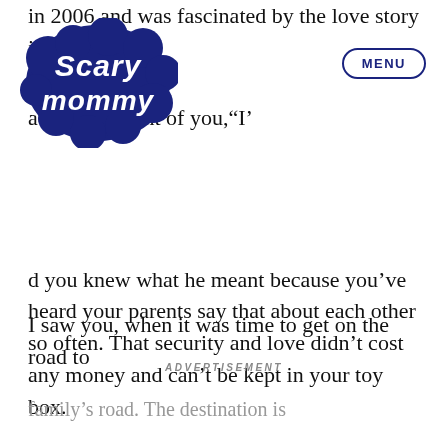[Figure (logo): Scary Mommy logo — stylized text in dark navy blue with cloud/script design]
in 2006 and was fascinated by the love story in
ad said in front of you,“I’d you knew what he meant because you’ve heard your parents say that about each other so often. That security and love didn’t cost any money and can’t be kept in your toy box.
ADVERTISEMENT
I saw you, when it was time to get on the road to family’s road. The destination is